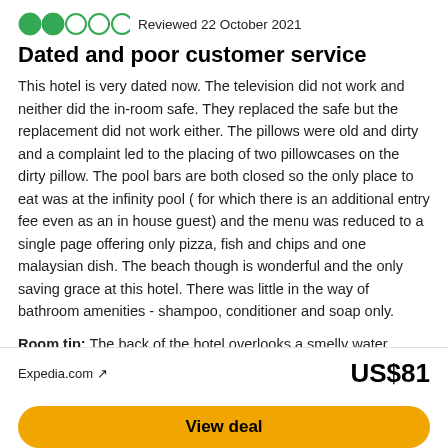[Figure (other): Star rating: 2 out of 5 green circles (TripAdvisor style rating)]
Reviewed 22 October 2021
Dated and poor customer service
This hotel is very dated now. The television did not work and neither did the in-room safe. They replaced the safe but the replacement did not work either. The pillows were old and dirty and a complaint led to the placing of two pillowcases on the dirty pillow. The pool bars are both closed so the only place to eat was at the infinity pool ( for which there is an additional entry fee even as an in house guest) and the menu was reduced to a single page offering only pizza, fish and chips and one malaysian dish. The beach though is wonderful and the only saving grace at this hotel. There was little in the way of bathroom amenities - shampoo, conditioner and soap only.
Room tip: The back of the hotel overlooks a smelly water treatment plant - avoid those tooms.
Date of stay: October 2021
Expedia.com ↗
US$81
View deal